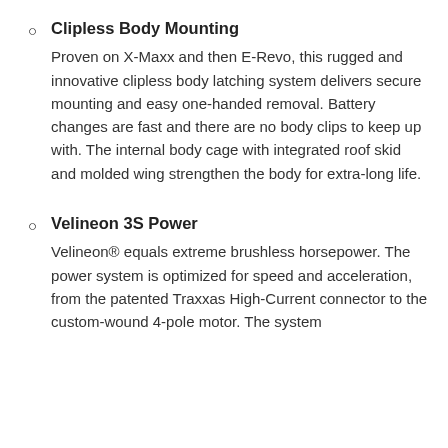Clipless Body Mounting
Proven on X-Maxx and then E-Revo, this rugged and innovative clipless body latching system delivers secure mounting and easy one-handed removal. Battery changes are fast and there are no body clips to keep up with. The internal body cage with integrated roof skid and molded wing strengthen the body for extra-long life.
Velineon 3S Power
Velineon® equals extreme brushless horsepower. The power system is optimized for speed and acceleration, from the patented Traxxas High-Current connector to the custom-wound 4-pole motor. The system